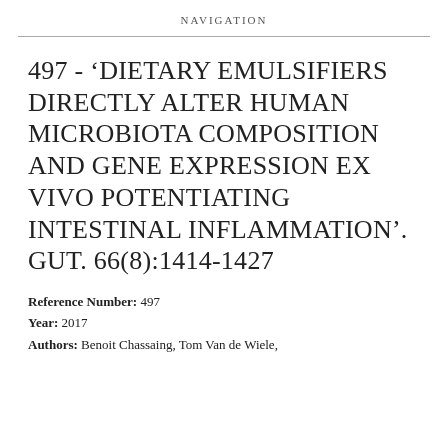NAVIGATION
497 - ‘DIETARY EMULSIFIERS DIRECTLY ALTER HUMAN MICROBIOTA COMPOSITION AND GENE EXPRESSION EX VIVO POTENTIATING INTESTINAL INFLAMMATION’. GUT. 66(8):1414-1427
Reference Number: 497
Year: 2017
Authors: Benoit Chassaing, Tom Van de Wiele,